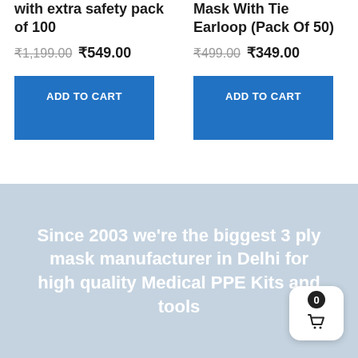with extra safety pack of 100
₹1,199.00 ₹549.00
ADD TO CART
Mask With Tie Earloop (Pack Of 50)
₹499.00 ₹349.00
ADD TO CART
Since 2003 we're the biggest 3 ply mask manufacturer in Delhi for high quality Medical PPE Kits and tools